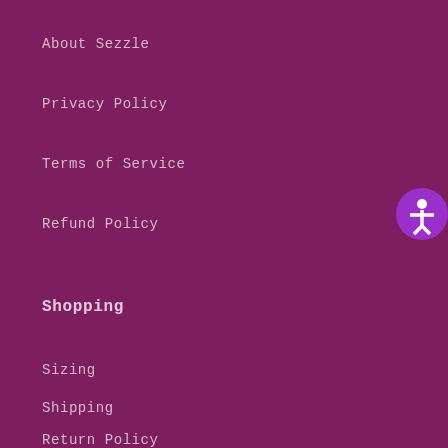About Sezzle
Privacy Policy
Terms of Service
Refund Policy
Shopping
Sizing
Shipping
Return Policy
[Figure (illustration): Accessibility icon: white person silhouette in a circle on a bright purple/magenta background, positioned top-right corner]